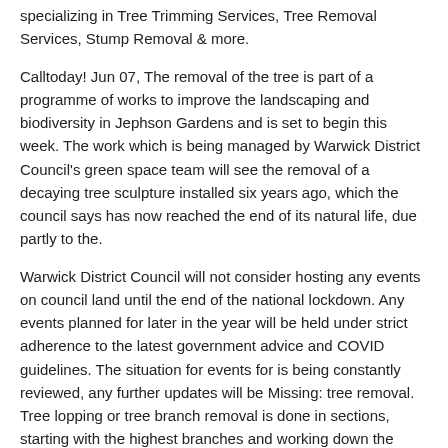specializing in Tree Trimming Services, Tree Removal Services, Stump Removal & more.
Calltoday! Jun 07, The removal of the tree is part of a programme of works to improve the landscaping and biodiversity in Jephson Gardens and is set to begin this week. The work which is being managed by Warwick District Council's green space team will see the removal of a decaying tree sculpture installed six years ago, which the council says has now reached the end of its natural life, due partly to the.
Warwick District Council will not consider hosting any events on council land until the end of the national lockdown. Any events planned for later in the year will be held under strict adherence to the latest government advice and COVID guidelines. The situation for events for is being constantly reviewed, any further updates will be Missing: tree removal. Tree lopping or tree branch removal is done in sections, starting with the highest branches and working down the trunk. Rotting and diseased tree stumps can become breeding grounds for insects.
Tree root damage to property or